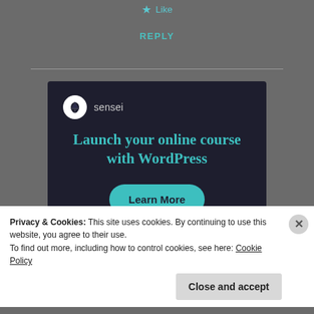Like
REPLY
[Figure (infographic): Sensei advertisement banner with dark navy background, Sensei logo (tree icon in white circle), teal headline 'Launch your online course with WordPress', and a teal 'Learn More' pill button]
Privacy & Cookies: This site uses cookies. By continuing to use this website, you agree to their use.
To find out more, including how to control cookies, see here: Cookie Policy
Close and accept